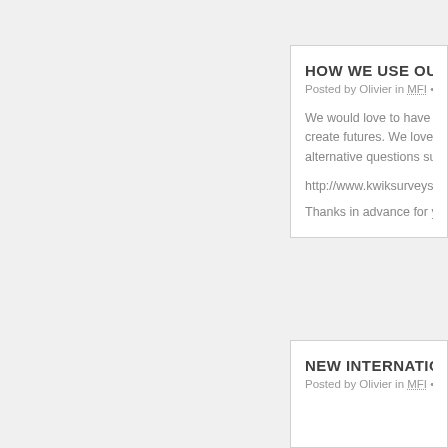HOW WE USE OUR BR…
Posted by Olivier in MFI •
We would love to have yo… create futures. We love fu… alternative questions surv…
http://www.kwiksurveys.co…
Thanks in advance for yo…
NEW INTERNATIONAL…
Posted by Olivier in MFI •